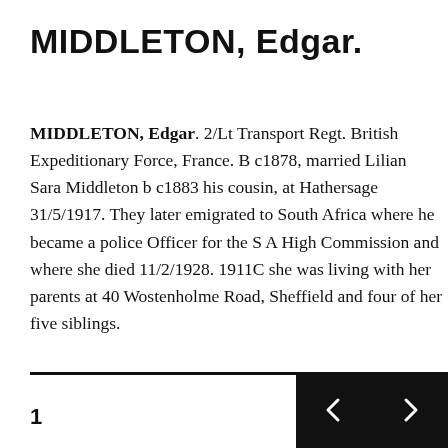MIDDLETON, Edgar.
MIDDLETON, Edgar. 2/Lt Transport Regt. British Expeditionary Force, France. B c1878, married Lilian Sara Middleton b c1883 his cousin, at Hathersage 31/5/1917. They later emigrated to South Africa where he became a police Officer for the S A High Commission and where she died 11/2/1928. 1911C she was living with her parents at 40 Wostenholme Road, Sheffield and four of her five siblings.
1